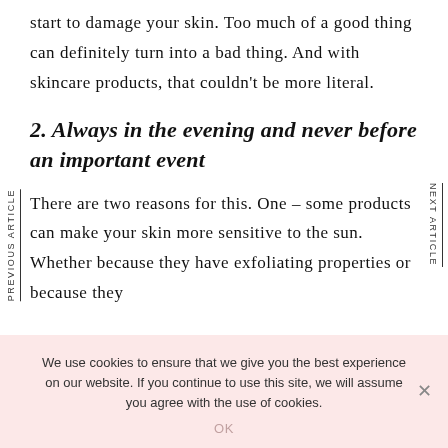start to damage your skin. Too much of a good thing can definitely turn into a bad thing. And with skincare products, that couldn't be more literal.
2. Always in the evening and never before an important event
There are two reasons for this. One – some products can make your skin more sensitive to the sun. Whether because they have exfoliating properties or because they
We use cookies to ensure that we give you the best experience on our website. If you continue to use this site, we will assume you agree with the use of cookies.
OK